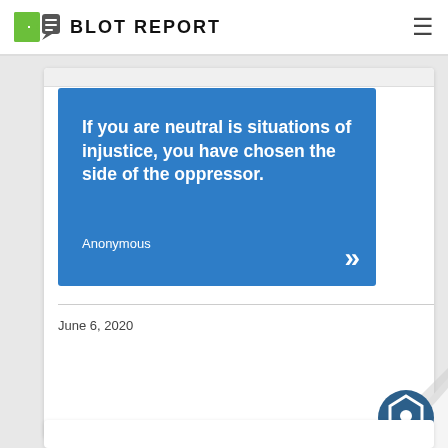BLOT REPORT
[Figure (illustration): Blue quote card with white bold text reading: 'If you are neutral is situations of injustice, you have chosen the side of the oppressor.' with attribution 'Anonymous' and decorative quotation marks in the bottom-right corner.]
June 6, 2020